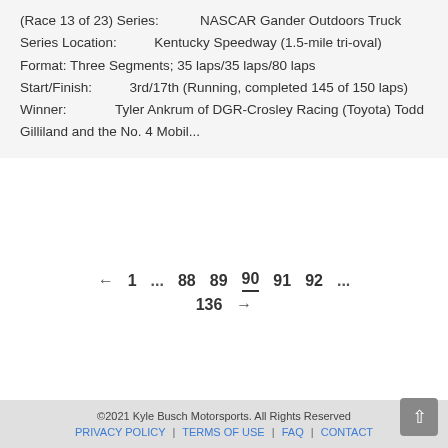(Race 13 of 23) Series: NASCAR Gander Outdoors Truck Series Location: Kentucky Speedway (1.5-mile tri-oval) Format: Three Segments; 35 laps/35 laps/80 laps Start/Finish: 3rd/17th (Running, completed 145 of 150 laps) Winner: Tyler Ankrum of DGR-Crosley Racing (Toyota) Todd Gilliland and the No. 4 Mobil...
← 1 ... 88 89 90 91 92 ... 136 →
©2021 Kyle Busch Motorsports. All Rights Reserved PRIVACY POLICY | TERMS OF USE | FAQ | CONTACT